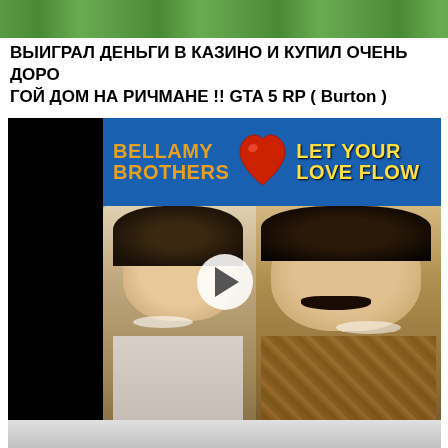[Figure (screenshot): Green landscape thumbnail image strip at top]
ВЫИГРАЛ ДЕНЬГИ В КАЗИНО И КУПИЛ ОЧЕНЬ ДОРОГОЙ ДОМ НА РИЧМАНЕ !! GTA 5 RP ( Burton )
[Figure (screenshot): Video thumbnail showing Bellamy Brothers album cover 'Let Your Love Flow' with two men smiling, orange text on blue background, play button overlay]
Bellamy Brothers ~ Let Your Love Flow 1976 Disco Purrfection Version
[Figure (screenshot): Grey/light colored thumbnail strip at bottom, partially visible]